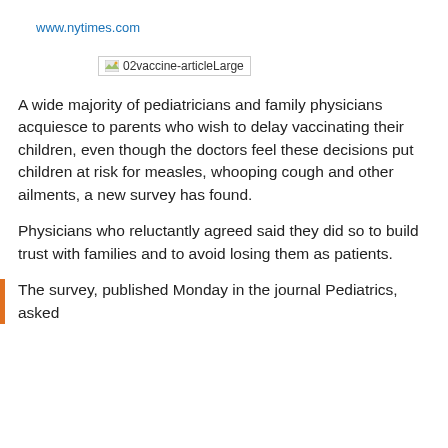www.nytimes.com
[Figure (other): Broken image placeholder labeled '02vaccine-articleLarge']
A wide majority of pediatricians and family physicians acquiesce to parents who wish to delay vaccinating their children, even though the doctors feel these decisions put children at risk for measles, whooping cough and other ailments, a new survey has found.
Physicians who reluctantly agreed said they did so to build trust with families and to avoid losing them as patients.
The survey, published Monday in the journal Pediatrics, asked...